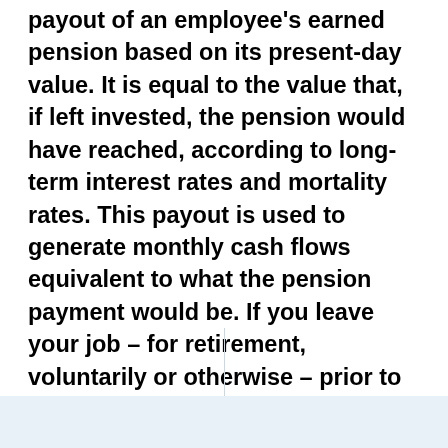payout of an employee's earned pension based on its present-day value. It is equal to the value that, if left invested, the pension would have reached, according to long-term interest rates and mortality rates. This payout is used to generate monthly cash flows equivalent to what the pension payment would be. If you leave your job – for retirement, voluntarily or otherwise – prior to the age when your pension plan would kick in, you must decide whether you wish to roll the commuted value into a self-owned account or stay in the plan.